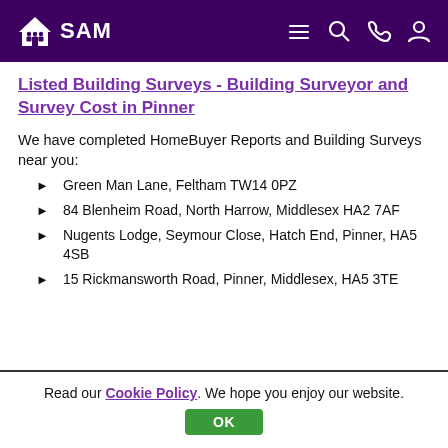SAM - navigation header with logo, menu, search, phone, and account icons
Listed Building Surveys - Building Surveyor and Survey Cost in Pinner
We have completed HomeBuyer Reports and Building Surveys near you:
Green Man Lane, Feltham TW14 0PZ
84 Blenheim Road, North Harrow, Middlesex HA2 7AF
Nugents Lodge, Seymour Close, Hatch End, Pinner, HA5 4SB
15 Rickmansworth Road, Pinner, Middlesex, HA5 3TE
Read our Cookie Policy. We hope you enjoy our website. OK